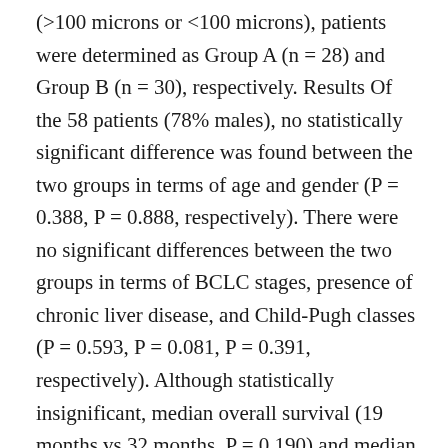(>100 microns or <100 microns), patients were determined as Group A (n = 28) and Group B (n = 30), respectively. Results Of the 58 patients (78% males), no statistically significant difference was found between the two groups in terms of age and gender (P = 0.388, P = 0.888, respectively). There were no significant differences between the two groups in terms of BCLC stages, presence of chronic liver disease, and Child-Pugh classes (P = 0.593, P = 0.081, P = 0.391, respectively). Although statistically insignificant, median overall survival (19 months vs 32 months, P = 0.190) and median progression-free survival (13 months vs 20 months (P = 0.574) were longer and 1-3-years objective response rates (7.40% vs 23.33%, P = 0.330) were higher in Group B than in Group A,